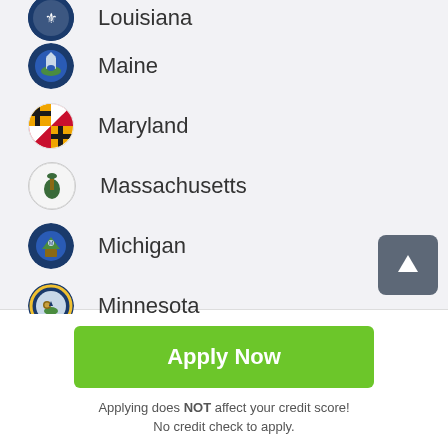Louisiana
Maine
Maryland
Massachusetts
Michigan
Minnesota
Apply Now
Applying does NOT affect your credit score!
No credit check to apply.